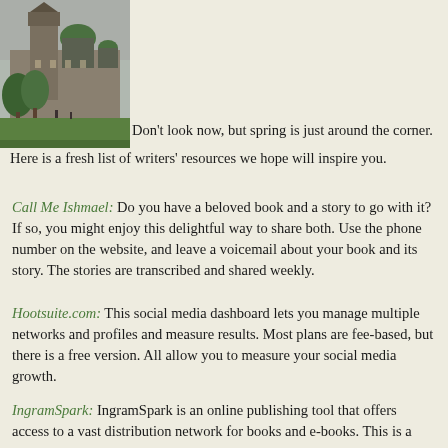[Figure (photo): Outdoor photo of a large stone building with a green-domed tower, surrounded by trees and a green lawn, overcast sky]
Don't look now, but spring is just around the corner. Here is a fresh list of writers' resources we hope will inspire you.
Call Me Ishmael: Do you have a beloved book and a story to go with it? If so, you might enjoy this delightful way to share both. Use the phone number on the website, and leave a voicemail about your book and its story. The stories are transcribed and shared weekly.
Hootsuite.com: This social media dashboard lets you manage multiple networks and profiles and measure results. Most plans are fee-based, but there is a free version. All allow you to measure your social media growth.
IngramSpark: IngramSpark is an online publishing tool that offers access to a vast distribution network for books and e-books. This is a